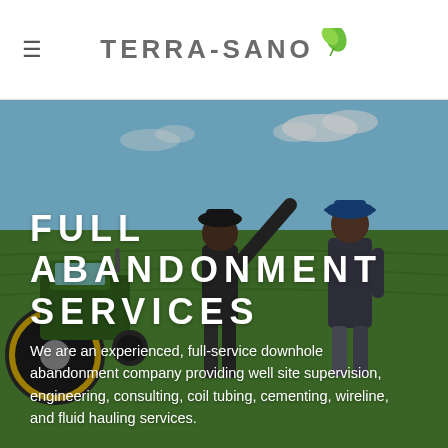TERRA-SANO
[Figure (photo): Two men standing in a green agricultural field, one pointing into the distance, with a large green tractor/equipment visible on the left side. Open sky with light clouds in the background.]
FULL ABANDONMENT SERVICES
We are an experienced, full-service downhole abandonment company providing well site supervision, engineering, consulting, coil tubing, cementing, wireline, and fluid hauling services.